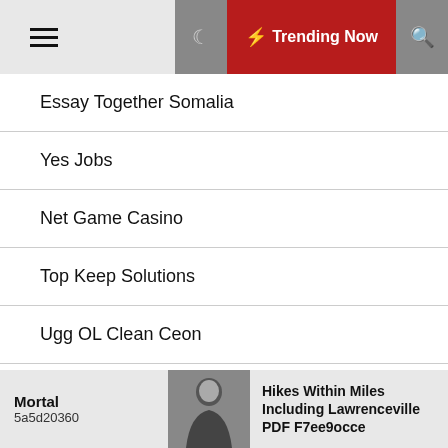Trending Now
Essay Together Somalia
Yes Jobs
Net Game Casino
Top Keep Solutions
Ugg OL Clean Ceon
Ogar Import
Seguro De Auto
Mortal 5a5d20360 — Hikes Within Miles Including Lawrenceville PDF F7ee9occe